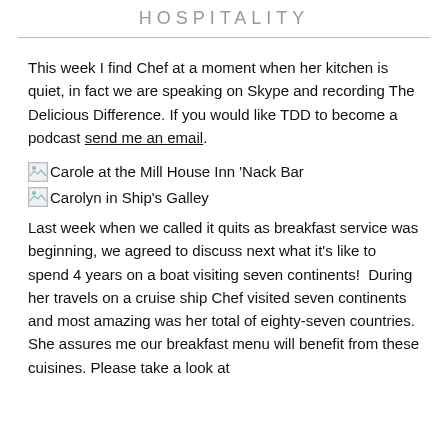HOSPITALITY
This week I find Chef at a moment when her kitchen is quiet, in fact we are speaking on Skype and recording The Delicious Difference. If you would like TDD to become a podcast send me an email.
[Figure (illustration): Small broken image placeholder icon next to text: Carole at the Mill House Inn ‘Nack Bar]
[Figure (illustration): Small broken image placeholder icon next to text: Carolyn in Ship’s Galley]
Last week when we called it quits as breakfast service was beginning, we agreed to discuss next what it’s like to spend 4 years on a boat visiting seven continents!  During her travels on a cruise ship Chef visited seven continents and most amazing was her total of eighty-seven countries. She assures me our breakfast menu will benefit from these cuisines. Please take a look at